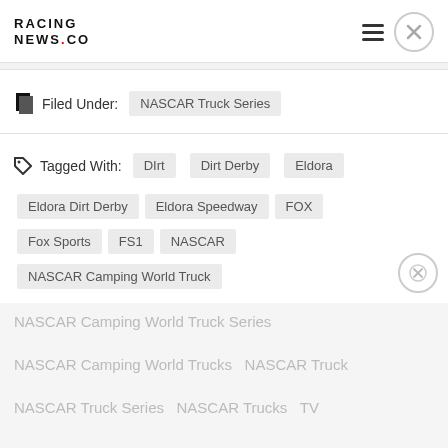RACING NEWS.CO
Filed Under: NASCAR Truck Series
Tagged With: DIrt  Dirt Derby  Eldora  Eldora Dirt Derby  Eldora Speedway  FOX  Fox Sports  FS1  NASCAR  NASCAR Camping World Truck
NASCAR Camping World Truck Series  NASCAR Camping World Trucks  NASCAR Truck  NASCAR Truck Series  NASCAR Trucks  TV